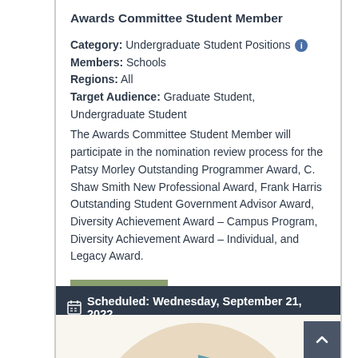Awards Committee Student Member
Category: Undergraduate Student Positions
Members: Schools
Regions: All
Target Audience: Graduate Student, Undergraduate Student
The Awards Committee Student Member will participate in the nomination review process for the Patsy Morley Outstanding Programmer Award, C. Shaw Smith New Professional Award, Frank Harris Outstanding Student Government Advisor Award, Diversity Achievement Award – Campus Program, Diversity Achievement Award – Individual, and Legacy Award.
View More
Scheduled: Wednesday, September 21, 2022
[Figure (illustration): Partial view of a pie chart or circular graphic with beige and teal/blue color segments, cut off at the bottom of the page.]